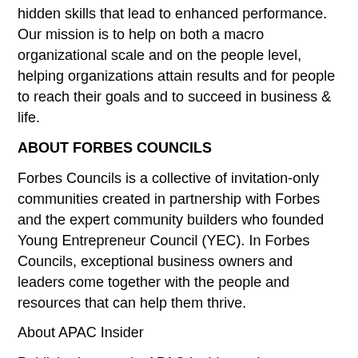hidden skills that lead to enhanced performance. Our mission is to help on both a macro organizational scale and on the people level, helping organizations attain results and for people to reach their goals and to succeed in business & life.
ABOUT FORBES COUNCILS
Forbes Councils is a collective of invitation-only communities created in partnership with Forbes and the expert community builders who founded Young Entrepreneur Council (YEC). In Forbes Councils, exceptional business owners and leaders come together with the people and resources that can help them thrive.
About APAC Insider
Published quarterly, APAC Insider endeavors to bring you the latest need-to-know business content and updates from across the Asia Pacific Region
Keeping pace with a vast array of ever-changing sectors thanks to regular contributions from some of the region's foremost corporate professionals, APAC Insider is home to the very best news, features...